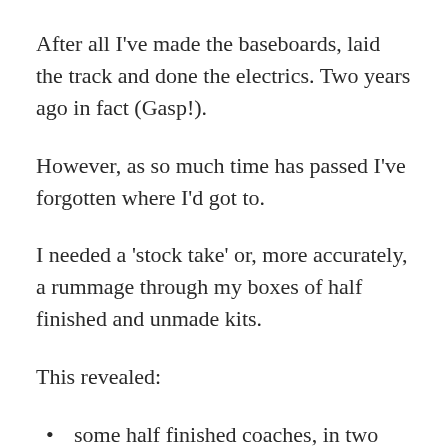After all I've made the baseboards, laid the track and done the electrics. Two years ago in fact (Gasp!).
However, as so much time has passed I've forgotten where I'd got to.
I needed a 'stock take' or, more accurately, a rummage through my boxes of half finished and unmade kits.
This revealed:
some half finished coaches, in two different